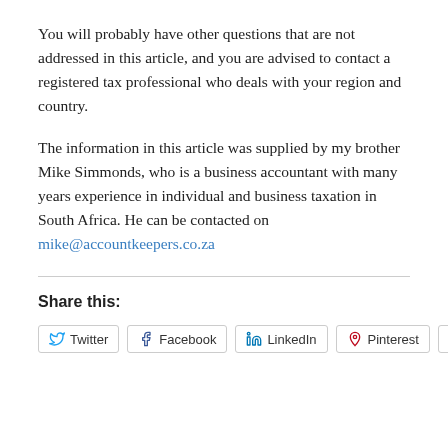You will probably have other questions that are not addressed in this article, and you are advised to contact a registered tax professional who deals with your region and country.
The information in this article was supplied by my brother Mike Simmonds, who is a business accountant with many years experience in individual and business taxation in South Africa. He can be contacted on mike@accountkeepers.co.za
Share this:
Twitter
Facebook
LinkedIn
Pinterest
Email